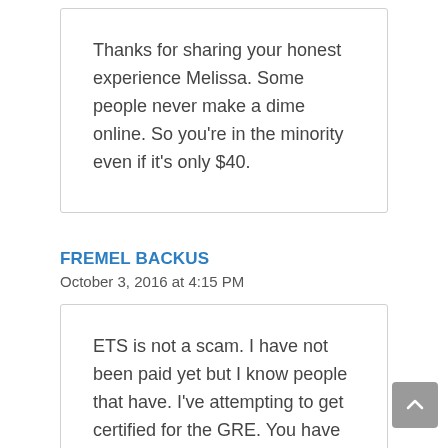Thanks for sharing your honest experience Melissa. Some people never make a dime online. So you're in the minority even if it's only $40.
FREMEL BACKUS
October 3, 2016 at 4:15 PM
ETS is not a scam. I have not been paid yet but I know people that have. I've attempting to get certified for the GRE. You have to get certified for two